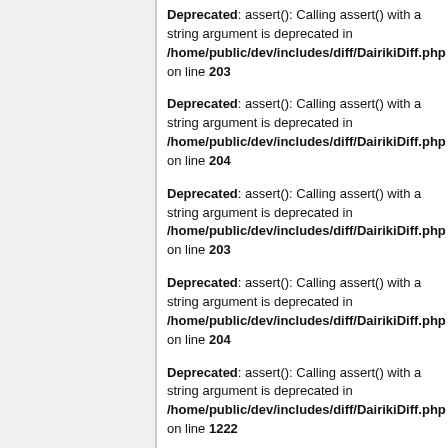Deprecated: assert(): Calling assert() with a string argument is deprecated in /home/public/dev/includes/diff/DairikiDiff.php on line 203
Deprecated: assert(): Calling assert() with a string argument is deprecated in /home/public/dev/includes/diff/DairikiDiff.php on line 204
Deprecated: assert(): Calling assert() with a string argument is deprecated in /home/public/dev/includes/diff/DairikiDiff.php on line 203
Deprecated: assert(): Calling assert() with a string argument is deprecated in /home/public/dev/includes/diff/DairikiDiff.php on line 204
Deprecated: assert(): Calling assert() with a string argument is deprecated in /home/public/dev/includes/diff/DairikiDiff.php on line 1222